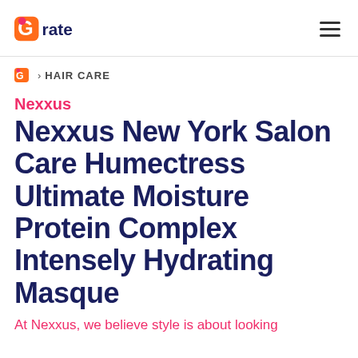Grate
HAIR CARE
Nexxus
Nexxus New York Salon Care Humectress Ultimate Moisture Protein Complex Intensely Hydrating Masque
At Nexxus, we believe style is about looking